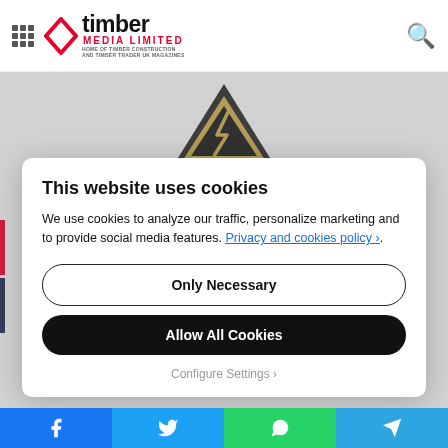Timber Media Limited - Home of Timber Construction and Timber Trader UK Magazines
SIG commits to customer-centric strategy
[Figure (logo): Triangular logo with gold and dark coloring]
This website uses cookies
We use cookies to analyze our traffic, personalize marketing and to provide social media features. Privacy and cookies policy ›.
Only Necessary
Allow All Cookies
Configure Settings ›
Facebook Twitter WhatsApp Telegram social share buttons